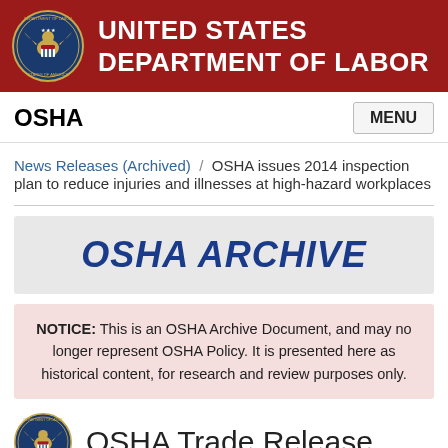UNITED STATES DEPARTMENT OF LABOR
OSHA
News Releases (Archived) / OSHA issues 2014 inspection plan to reduce injuries and illnesses at high-hazard workplaces
[Figure (other): OSHA ARCHIVE banner in bold italic blue text on gray background]
NOTICE: This is an OSHA Archive Document, and may no longer represent OSHA Policy. It is presented here as historical content, for research and review purposes only.
OSHA Trade Release